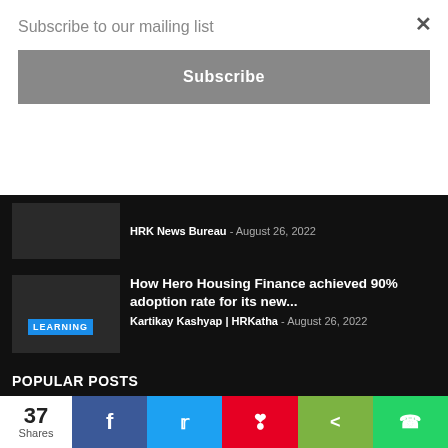Subscribe to our mailing list
Subscribe
HRK News Bureau  -  August 26, 2022
How Hero Housing Finance achieved 90% adoption rate for its new...
Kartikay Kashyap | HRKatha  -  August 26, 2022
POPULAR POSTS
How to up productivity during festive months
Kartikay Kashyap | HRKatha  -  October 15, 2018
37 Shares